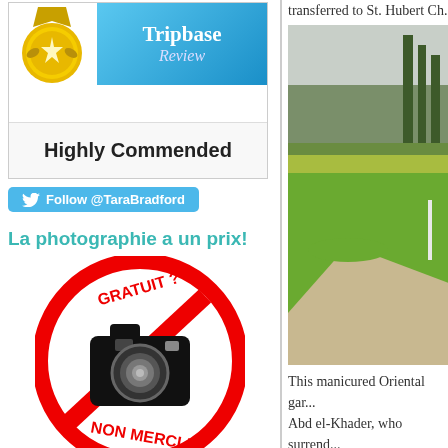[Figure (illustration): Tripbase Review Highly Commended badge with gold medal and blue banner]
[Figure (illustration): Twitter follow button: Follow @TaraBradford]
La photographie a un prix!
[Figure (illustration): Red no-photography sign with text GRATUIT? NON MERCI! and camera icon crossed out]
Blog powered by Typepad
Member since 01/2006
transferred to St. Hubert Ch...
[Figure (photo): Manicured garden with green lawn, tall cypress trees, and gravel path]
This manicured Oriental gar... Abd el-Khader, who surrend... was liberated by Napoleon B... under house arrest at the Ch...